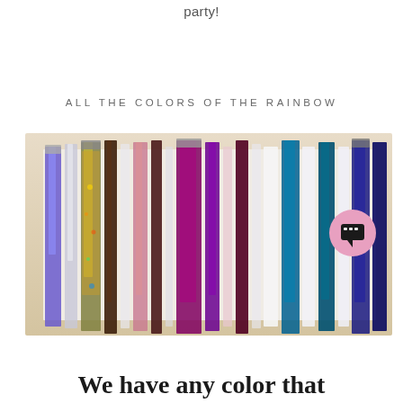party!
ALL THE COLORS OF THE RAINBOW
[Figure (photo): A flat lay photograph showing many strips of hair tinsel/extensions in various colors including holographic silver, blue, green, gold, brown, red, purple, and teal arranged vertically side by side on a white surface.]
We have any color that